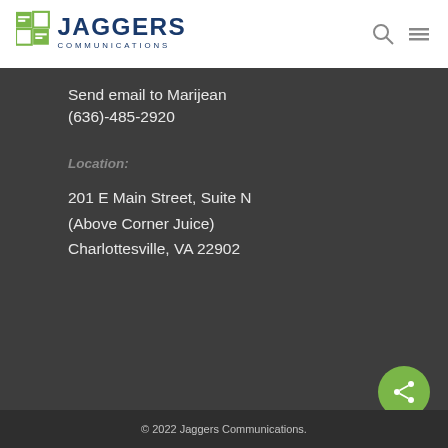[Figure (logo): Jaggers Communications logo with blue text and green icon]
Send email to Marijean
(636)-485-2920
Location:
201 E Main Street, Suite N
(Above Corner Juice)
Charlottesville, VA 22902
© 2022 Jaggers Communications.